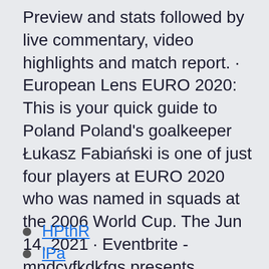Preview and stats followed by live commentary, video highlights and match report. · European Lens EURO 2020: This is your quick guide to Poland Poland's goalkeeper Łukasz Fabiański is one of just four players at EURO 2020 who was named in squads at the 2006 World Cup. The Jun 14, 2021 · Eventbrite - mndcvfkdkfgs presents StREAMS@>!
HPthR
lPa...